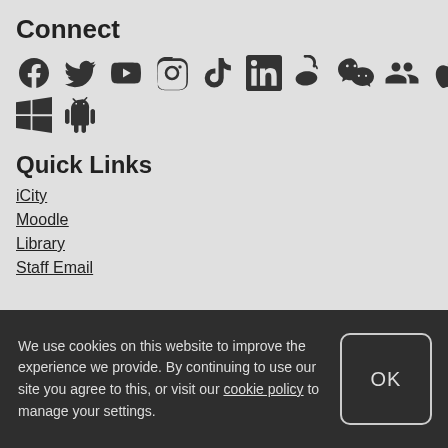Connect
[Figure (infographic): Social media and platform icons: Facebook, Twitter, YouTube, Instagram, TikTok, LinkedIn, Weibo, WeChat, another social icon, Apple, Windows, Android]
Quick Links
iCity
Moodle
Library
Staff Email
We use cookies on this website to improve the experience we provide. By continuing to use our site you agree to this, or visit our cookie policy to manage your settings.